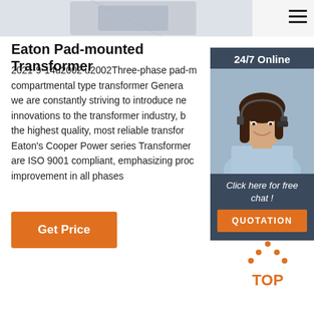[Figure (photo): Partial product image of a transformer (cropped at top of page) and a hamburger menu icon on the top right]
Eaton Pad-mounted Transformer
2021-9-14u2002·u2002Three-phase pad-mounted, compartmental type transformer Generally, we are constantly striving to introduce new innovations to the transformer industry, bringing the highest quality, most reliable transformers. Eaton's Cooper Power series Transformers are ISO 9001 compliant, emphasizing process improvement in all phases
Get Price
[Figure (photo): Chat widget with dark blue/grey background showing '24/7 Online' header, a photo of a smiling woman with headset, italic text 'Click here for free chat!' and an orange QUOTATION button]
[Figure (other): Orange 'TOP' back-to-top icon with dotted triangle above the text]